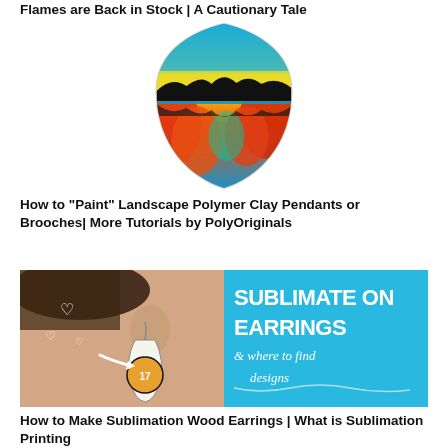Flames are Back in Stock | A Cautionary Tale
[Figure (photo): Colorful landscape polymer clay pendant with vivid orange, red, yellow, blue colors depicting a nature scene with silhouetted trees]
How to "Paint" Landscape Polymer Clay Pendants or Brooches| More Tutorials by PolyOriginals
[Figure (photo): Promotional image for sublimation on earrings tutorial, showing teardrop-shaped wood earrings with a basketball design and text 'SUBLIMATE ON EARRINGS & where to find designs']
How to Make Sublimation Wood Earrings | What is Sublimation Printing